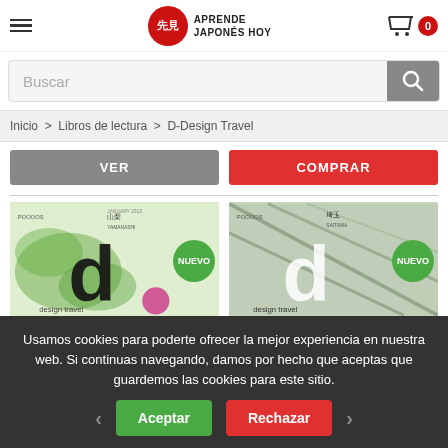Aprende Japonés Hoy — navigation header with hamburger menu, logo, and cart (0 items)
Buscar
Inicio > Libros de lectura > D-Design Travel
VER
COMPRAR
[Figure (illustration): D-Design Travel book cover with green botanical design and large 'd' letter, mountain (山梨) theme, NUEVO badge]
[Figure (illustration): D-Design Travel book cover with green geometric design and large 'd' letter, Saitama (埼玉) theme, NUEVO badge]
Usamos cookies para poderte ofrecer la mejor experiencia en nuestra web. Si continuas navegando, damos por hecho que aceptas que guardemos las cookies para este sitio.
Aceptar
Rechazar